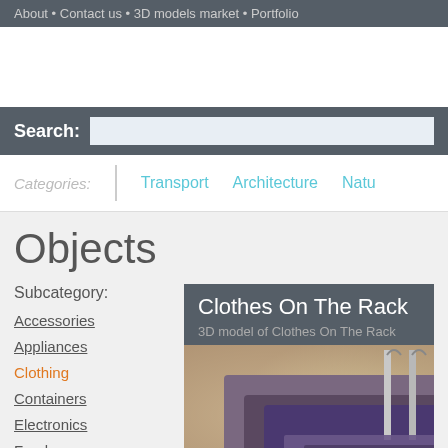About • Contact us • 3D models market • Portfolio
Search:
Categories: Transport Architecture Natu...
Objects
Subcategory:
Accessories
Appliances
Clothing
Containers
Electronics
Food
Clothes On The Rack
3D model of Clothes On The Rack
[Figure (photo): Photo of clothes hanging on a rack with blurred background]